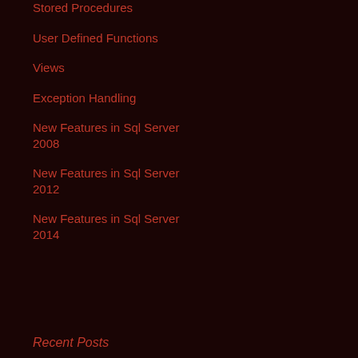Stored Procedures
User Defined Functions
Views
Exception Handling
New Features in Sql Server 2008
New Features in Sql Server 2012
New Features in Sql Server 2014
Recent Posts